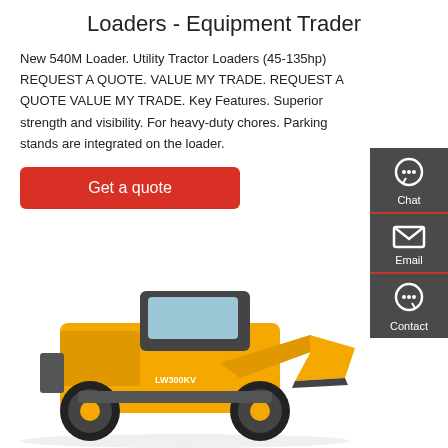Loaders - Equipment Trader
New 540M Loader. Utility Tractor Loaders (45-135hp) REQUEST A QUOTE. VALUE MY TRADE. REQUEST A QUOTE VALUE MY TRADE. Key Features. Superior strength and visibility. For heavy-duty chores. Parking stands are integrated on the loader.
Get a quote
[Figure (screenshot): Sidebar with Chat, Email, and Contact icons on dark gray background]
[Figure (photo): Yellow front-end wheel loader (LW300KV) on white background]